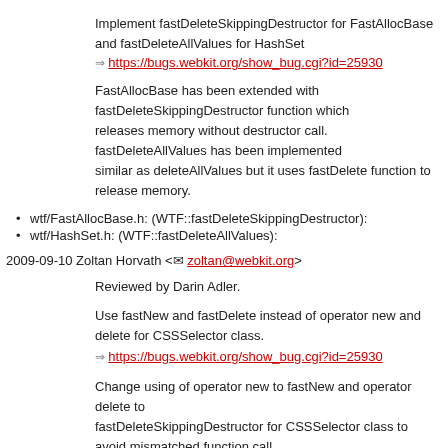Implement fastDeleteSkippingDestructor for FastAllocBase and fastDeleteAllValues for HashSet
⇒ https://bugs.webkit.org/show_bug.cgi?id=25930
FastAllocBase has been extended with fastDeleteSkippingDestructor function which releases memory without destructor call. fastDeleteAllValues has been implemented similar as deleteAllValues but it uses fastDelete function to release memory.
wtf/FastAllocBase.h: (WTF::fastDeleteSkippingDestructor):
wtf/HashSet.h: (WTF::fastDeleteAllValues):
2009-09-10 Zoltan Horvath <zoltan@webkit.org>
Reviewed by Darin Adler.
Use fastNew and fastDelete instead of operator new and delete for CSSSelector class.
⇒ https://bugs.webkit.org/show_bug.cgi?id=25930
Change using of operator new to fastNew and operator delete to fastDeleteSkippingDestructor for CSSSelector class to avoid mismatched function call.
This change fixes valgrind's 'mismatched free' notification.